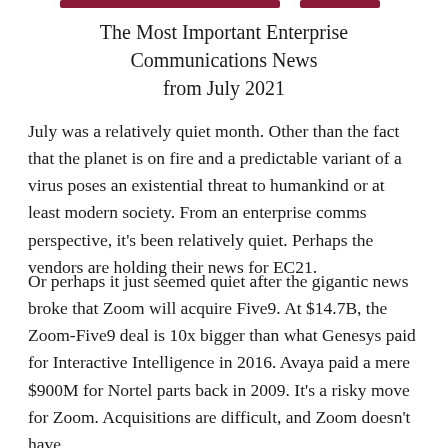The Most Important Enterprise Communications News from July 2021
July was a relatively quiet month. Other than the fact that the planet is on fire and a predictable variant of a virus poses an existential threat to humankind or at least modern society. From an enterprise comms perspective, it’s been relatively quiet. Perhaps the vendors are holding their news for EC21.
Or perhaps it just seemed quiet after the gigantic news broke that Zoom will acquire Five9. At $14.7B, the Zoom-Five9 deal is 10x bigger than what Genesys paid for Interactive Intelligence in 2016. Avaya paid a mere $900M for Nortel parts back in 2009. It’s a risky move for Zoom. Acquisitions are difficult, and Zoom doesn’t have